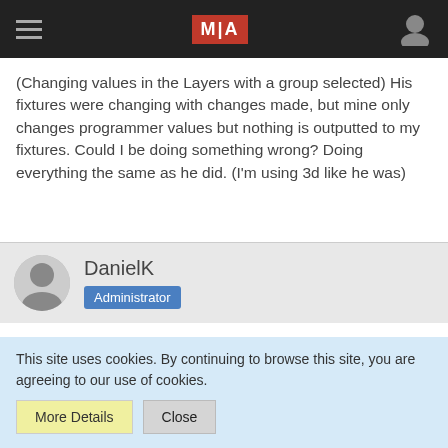[Figure (screenshot): Navigation bar with hamburger menu, MIA logo in red box, and user account icon on dark background]
(Changing values in the Layers with a group selected) His fixtures were changing with changes made, but mine only changes programmer values but nothing is outputted to my fixtures. Could I be doing something wrong? Doing everything the same as he did. (I'm using 3d like he was)
DanielK
Administrator
Jul 16th 2021
Hi YoungestLD,
you are right, the behaviour now changed in version 1.5...
This site uses cookies. By continuing to browse this site, you are agreeing to our use of cookies.